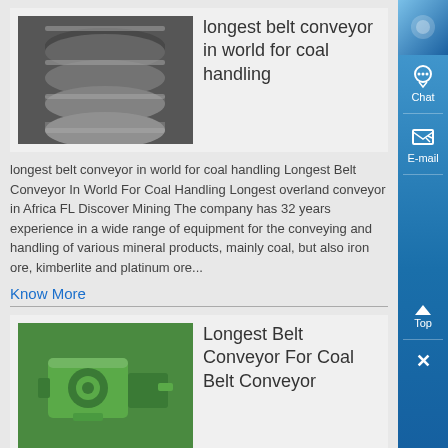[Figure (photo): Industrial metal rollers/pulleys for belt conveyor system]
longest belt conveyor in world for coal handling
longest belt conveyor in world for coal handling Longest Belt Conveyor In World For Coal Handling Longest overland conveyor in Africa FL Discover Mining The company has 32 years experience in a wide range of equipment for the conveying and handling of various mineral products, mainly coal, but also iron ore, kimberlite and platinum ore...
Know More
[Figure (photo): Green industrial motor/gearbox equipment for belt conveyor]
Longest Belt Conveyor For Coal Belt Conveyor
Longest Belt Conveyor In World For Coal Handling Longest belt conveyor in world for coal...